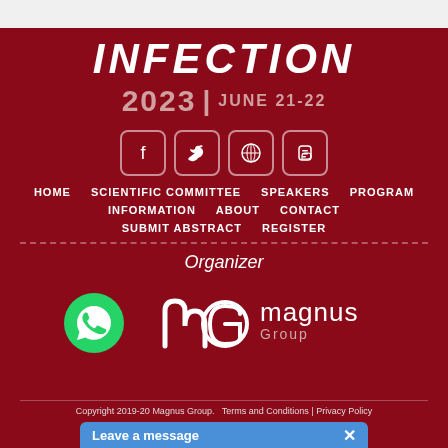INFECTION 2023 | JUNE 21-22
[Figure (other): Social media icons: Facebook, Twitter, WordPress, Blogger]
HOME  SCIENTIFIC COMMITTEE  SPEAKERS  PROGRAM  INFORMATION  ABOUT  CONTACT  SUBMIT ABSTRACT  REGISTER
Organizer
[Figure (logo): Magnus Group logo with stylized mg icon and text 'magnus Group']
[Figure (other): WhatsApp button (green circle with phone icon)]
Copyright 2019-20 Magnus Group.  Terms and Conditions | Privacy Policy
Leave a message